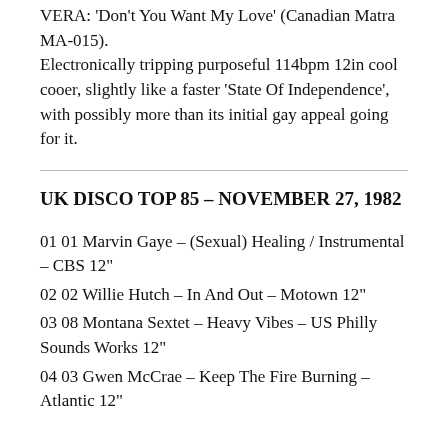VERA: 'Don't You Want My Love' (Canadian Matra MA-015). Electronically tripping purposeful 114bpm 12in cool cooer, slightly like a faster 'State Of Independence', with possibly more than its initial gay appeal going for it.
UK DISCO TOP 85 – NOVEMBER 27, 1982
01 01 Marvin Gaye – (Sexual) Healing / Instrumental – CBS 12"
02 02 Willie Hutch – In And Out – Motown 12"
03 08 Montana Sextet – Heavy Vibes – US Philly Sounds Works 12"
04 03 Gwen McCrae – Keep The Fire Burning – Atlantic 12"